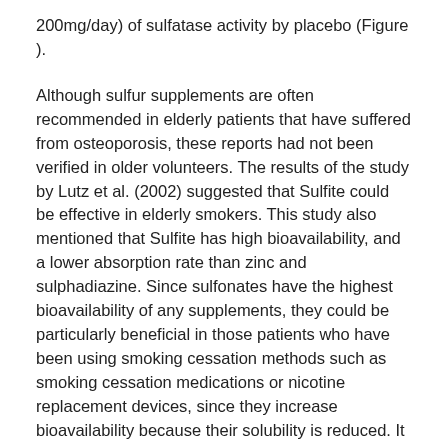200mg/day) of sulfatase activity by placebo (Figure ).
Although sulfur supplements are often recommended in elderly patients that have suffered from osteoporosis, these reports had not been verified in older volunteers. The results of the study by Lutz et al. (2002) suggested that Sulfite could be effective in elderly smokers. This study also mentioned that Sulfite has high bioavailability, and a lower absorption rate than zinc and sulphadiazine. Since sulfonates have the highest bioavailability of any supplements, they could be particularly beneficial in those patients who have been using smoking cessation methods such as smoking cessation medications or nicotine replacement devices, since they increase bioavailability because their solubility is reduced. It may even be difficult to find